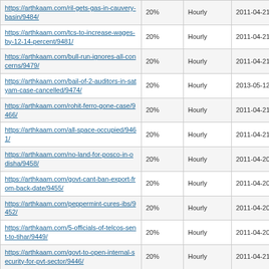| https://arthkaam.com/ril-gets-gas-in-cauvery-basin/9484/ | 20% | Hourly | 2011-04-21 16:30 |
| https://arthkaam.com/tcs-to-increase-wages-by-12-14-percent/9481/ | 20% | Hourly | 2011-04-21 15:42 |
| https://arthkaam.com/bull-run-ignores-all-concerns/9479/ | 20% | Hourly | 2011-04-21 14:31 |
| https://arthkaam.com/bail-of-2-auditors-in-satyam-case-cancelled/9474/ | 20% | Hourly | 2013-05-12 19:20 |
| https://arthkaam.com/rohit-ferro-gone-case/9466/ | 20% | Hourly | 2011-04-21 03:13 |
| https://arthkaam.com/all-space-occupied/9461/ | 20% | Hourly | 2011-04-21 01:58 |
| https://arthkaam.com/no-land-for-posco-in-odisha/9458/ | 20% | Hourly | 2011-04-20 13:49 |
| https://arthkaam.com/govt-cant-ban-export-from-back-date/9455/ | 20% | Hourly | 2011-04-20 13:37 |
| https://arthkaam.com/peppermint-cures-ibs/9452/ | 20% | Hourly | 2011-04-20 13:27 |
| https://arthkaam.com/5-officials-of-telcos-sent-to-tihar/9449/ | 20% | Hourly | 2011-04-20 13:06 |
| https://arthkaam.com/govt-to-open-internal-security-for-pvt-sector/9446/ | 20% | Hourly | 2011-04-21 03:17 |
| https://arthkaam.com/market-in-bull-run-buzz-in-mid-cap/9441/ | 20% | Hourly | 2011-04-20 11:21 |
| https://arthkaam.com/others-expensive-but-idbi-is-cheap/9434/ | 20% | Hourly | 2011-04-20 03:21 |
| https://arthkaam.com/beware-of-fraudsters/9429/ | 20% | Hourly | 2011-04-19 17:16 |
| https://arthkaam.com/37-5-percent-increase-in-exports/9426/ | 20% | Hourly | 2011-04-19 15:45 |
| https://arthkaam.com/normal-monsoon-this-year/9418/ | 20% | Hourly | 2011-04-19 15:14 |